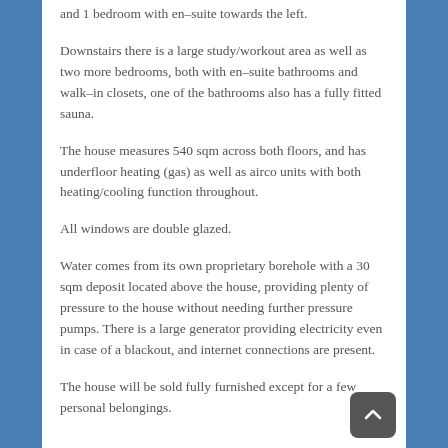and 1 bedroom with en-suite towards the left.
Downstairs there is a large study/workout area as well as two more bedrooms, both with en-suite bathrooms and walk-in closets, one of the bathrooms also has a fully fitted sauna.
The house measures 540 sqm across both floors, and has underfloor heating (gas) as well as airco units with both heating/cooling function throughout.
All windows are double glazed.
Water comes from its own proprietary borehole with a 30 sqm deposit located above the house, providing plenty of pressure to the house without needing further pressure pumps. There is a large generator providing electricity even in case of a blackout, and internet connections are present.
The house will be sold fully furnished except for a few personal belongings.